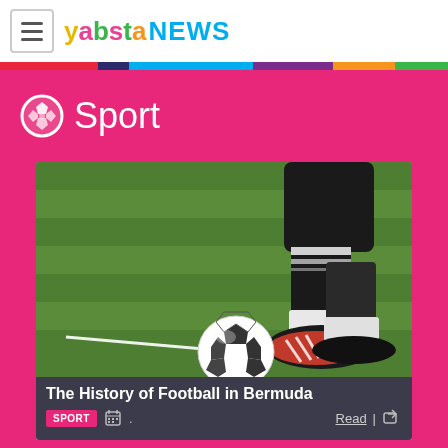yabsta NEWS
Sport
[Figure (photo): Football player in black kit about to kick a white football on a grass pitch, corner line visible]
The History of Football in Bermuda
SPORT  |  Read | Share